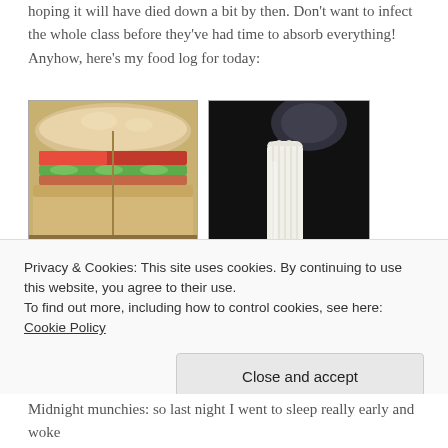hoping it will have died down a bit by then. Don't want to infect the whole class before they've had time to absorb everything! Anyhow, here's my food log for today:
[Figure (photo): Close-up photo of a sandwich cut diagonally, showing layers of tomato, cucumber, and filling between white bread slices]
[Figure (photo): Photo of a peeled banana on a dark background with a blurred circular object above]
Privacy & Cookies: This site uses cookies. By continuing to use this website, you agree to their use.
To find out more, including how to control cookies, see here: Cookie Policy
Midnight munchies: so last night I went to sleep really early and woke